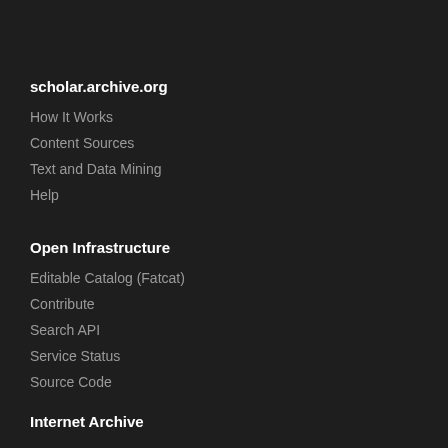scholar.archive.org
How It Works
Content Sources
Text and Data Mining
Help
Open Infrastructure
Editable Catalog (Fatcat)
Contribute
Search API
Service Status
Source Code
Internet Archive